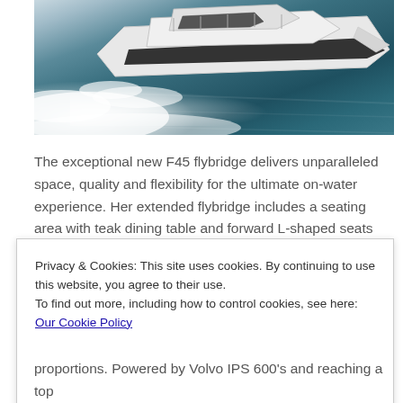[Figure (photo): Aerial photo of a white motor yacht (F45 flybridge) speeding through turquoise-green water, creating large white wake/foam behind and to the side.]
The exceptional new F45 flybridge delivers unparalleled space, quality and flexibility for the ultimate on-water experience. Her extended flybridge includes a seating area with teak dining table and forward L-shaped seats that
Privacy & Cookies: This site uses cookies. By continuing to use this website, you agree to their use.
To find out more, including how to control cookies, see here: Our Cookie Policy
Close and accept
proportions. Powered by Volvo IPS 600's and reaching a top